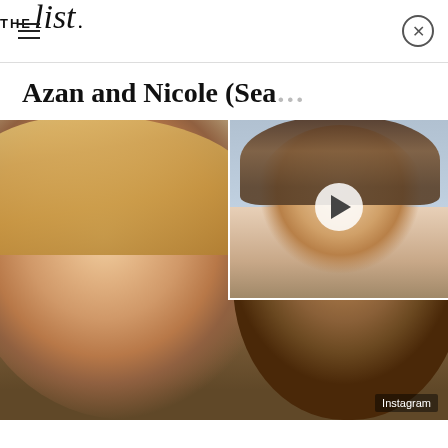THE list
Azan and Nicole (Sea…
[Figure (photo): Photo of Nicole (blonde woman) and Azan (man) smiling together, selfie style. A video overlay thumbnail in the top-right corner shows a woman with long brown hair. An 'Instagram' watermark appears in the bottom-right corner of the main photo.]
This is one of the few "lucky" couples to be featured on not one, but two seasons of 90 Day Fiancé. The two